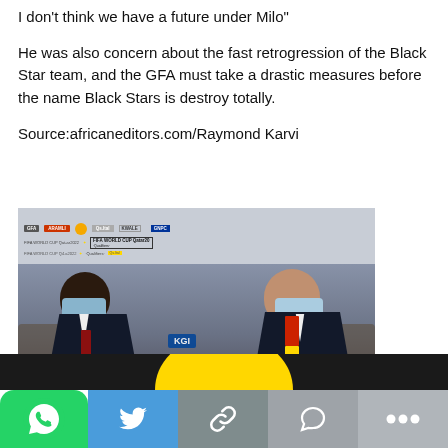I don’t think we have a future under Milo”
He was also concern about the fast retrogression of the Black Star team, and the GFA must take a drastic measures before the name Black Stars is destroy totally.
Source:africaneditors.com/Raymond Karvi
[Figure (photo): Two men wearing face masks seated at a table with water bottles and hand sanitizer in front of a FIFA World Cup Qatar 2022 Qualifiers backdrop with sponsor logos. The man on the left is Black wearing a dark suit with a red tie, and the man on the right appears older wearing a dark suit with a red, gold, and green scarf.]
[Figure (screenshot): Mobile share toolbar at the bottom with WhatsApp green icon, Twitter blue button, link icon, comment icon, and more options button. A dark bar with yellow arc is visible above.]